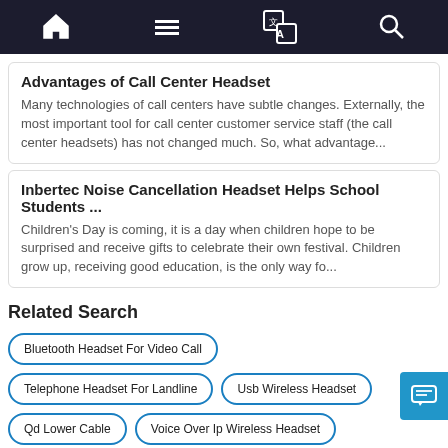Navigation bar with home, menu, translate, and search icons
Advantages of Call Center Headset
Many technologies of call centers have subtle changes. Externally, the most important tool for call center customer service staff (the call center headsets) has not changed much. So, what advantage...
Inbertec Noise Cancellation Headset Helps School Students ...
Children's Day is coming, it is a day when children hope to be surprised and receive gifts to celebrate their own festival. Children grow up, receiving good education, is the only way fo...
Related Search
Bluetooth Headset For Video Call
Telephone Headset For Landline
Usb Wireless Headset
Qd Lower Cable
Voice Over Ip Wireless Headset
Aux To Usb Converter
Rj9 Connector Headset
Work From Home Headset With Mic
Usb To Phone Jack Ada